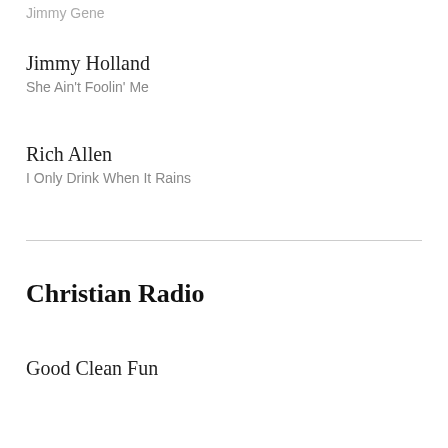Jimmy Gene
Jimmy Holland
She Ain't Foolin' Me
Rich Allen
I Only Drink When It Rains
Christian Radio
Good Clean Fun